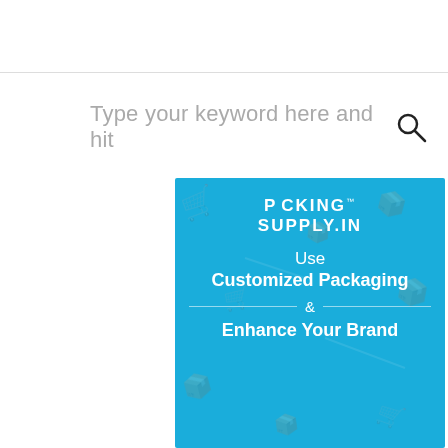Type your keyword here and hit 🔍
[Figure (illustration): Blue advertisement banner for PackingSupply.in with text: Use Customized Packaging & Enhance Your Brand, with faint watermark shopping icons in the background]